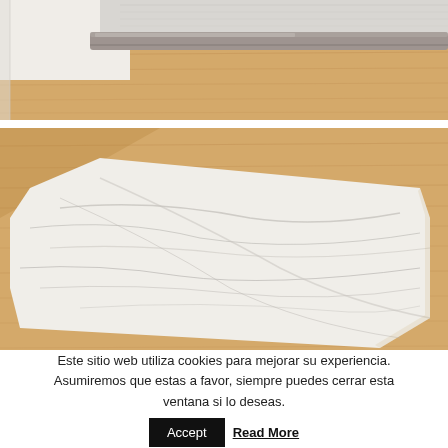[Figure (photo): Close-up photo of a rolled or folded gray fabric/rug edge on a light wood floor, viewed from above.]
[Figure (photo): Close-up photo of a white marble-patterned mat or rug with gray veining, lying on a light wood floor.]
Este sitio web utiliza cookies para mejorar su experiencia. Asumiremos que estas a favor, siempre puedes cerrar esta ventana si lo deseas.
Accept
Read More